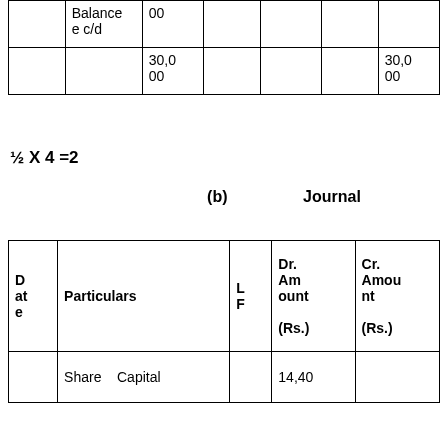|  |  |  |  |  |  |  |
| --- | --- | --- | --- | --- | --- | --- |
|  | Balance c/d | 00 |  |  |  |  |
|  |  | 30,000 |  |  |  | 30,000 |
½ X 4 =2
(b)                    Journal
| Date | Particulars | LF | Dr. Amount (Rs.) | Cr. Amount (Rs.) |
| --- | --- | --- | --- | --- |
|  | Share Capital |  | 14,40 |  |